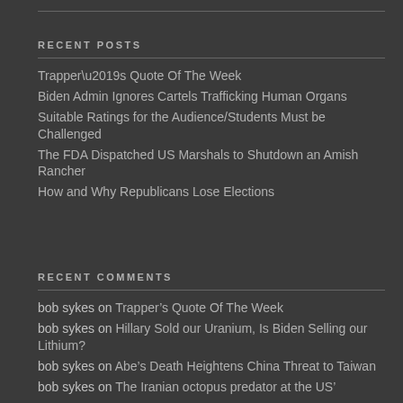RECENT POSTS
Trapper’s Quote Of The Week
Biden Admin Ignores Cartels Trafficking Human Organs
Suitable Ratings for the Audience/Students Must be Challenged
The FDA Dispatched US Marshals to Shutdown an Amish Rancher
How and Why Republicans Lose Elections
RECENT COMMENTS
bob sykes on Trapper’s Quote Of The Week
bob sykes on Hillary Sold our Uranium, Is Biden Selling our Lithium?
bob sykes on Abe’s Death Heightens China Threat to Taiwan
bob sykes on The Iranian octopus predator at the US’